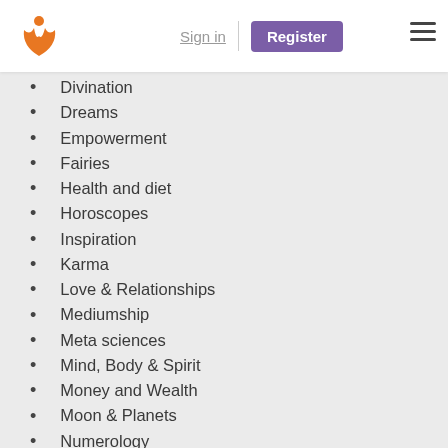Sign in | Register
Divination (partial)
Dreams
Empowerment
Fairies
Health and diet
Horoscopes
Inspiration
Karma
Love & Relationships
Mediumship
Meta sciences
Mind, Body & Spirit
Money and Wealth
Moon & Planets
Numerology
Past lives
Personal Change
Pets
Prediction
Psychics
Religion